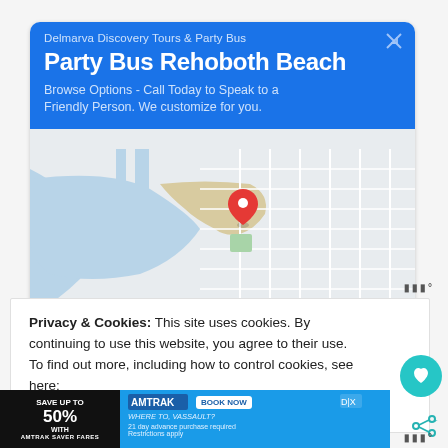[Figure (screenshot): Google Maps advertisement for Delmarva Discovery Tours & Party Bus showing a map with location pin and Directions/Call buttons]
Privacy & Cookies: This site uses cookies. By continuing to use this website, you agree to their use.
To find out more, including how to control cookies, see here:
Cookie Policy
[Figure (screenshot): Bottom banner ad for Amtrak: Save up to 50% with Amtrak Saver Fares. Book Now. 21 day advance purchase required. Restrictions apply.]